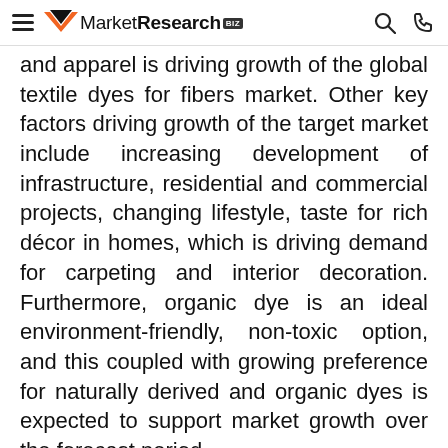MarketResearch.biz
and apparel is driving growth of the global textile dyes for fibers market. Other key factors driving growth of the target market include increasing development of infrastructure, residential and commercial projects, changing lifestyle, taste for rich décor in homes, which is driving demand for carpeting and interior decoration. Furthermore, organic dye is an ideal environment-friendly, non-toxic option, and this coupled with growing preference for naturally derived and organic dyes is expected to support market growth over the forecast period.